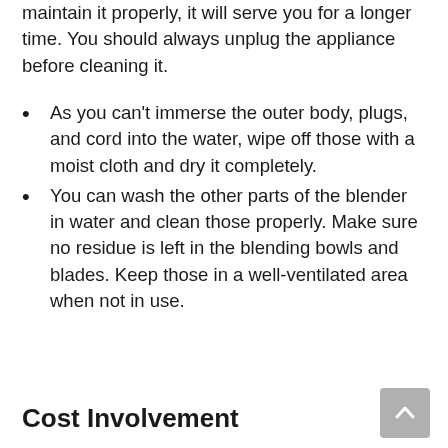maintain it properly, it will serve you for a longer time. You should always unplug the appliance before cleaning it.
As you can't immerse the outer body, plugs, and cord into the water, wipe off those with a moist cloth and dry it completely.
You can wash the other parts of the blender in water and clean those properly. Make sure no residue is left in the blending bowls and blades. Keep those in a well-ventilated area when not in use.
Cost Involvement